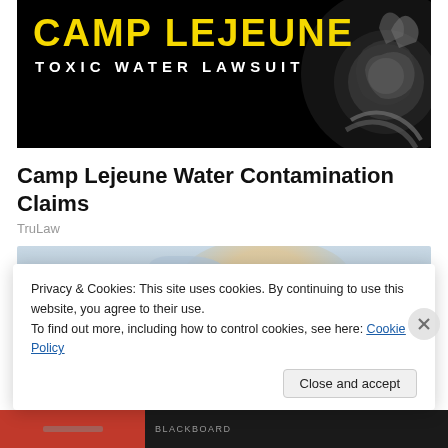[Figure (illustration): Camp Lejeune Toxic Water Lawsuit banner with yellow bold text 'CAMP LEJEUNE' and white text 'TOXIC WATER LAWSUIT' on black background with USMC eagle globe and anchor emblem on right]
Camp Lejeune Water Contamination Claims
TruLaw
[Figure (photo): Partially visible photo of a smiling person in light blue clothing]
Privacy & Cookies: This site uses cookies. By continuing to use this website, you agree to their use.
To find out more, including how to control cookies, see here: Cookie Policy
Close and accept